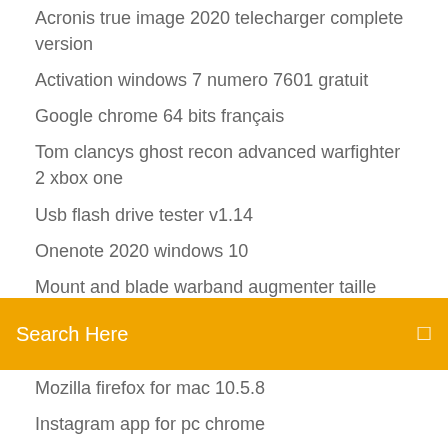Acronis true image 2020 telecharger complete version
Activation windows 7 numero 7601 gratuit
Google chrome 64 bits français
Tom clancys ghost recon advanced warfighter 2 xbox one
Usb flash drive tester v1.14
Onenote 2020 windows 10
Mount and blade warband augmenter taille armée
Search Here
Mozilla firefox for mac 10.5.8
Instagram app for pc chrome
Comodo antivirus windows 7 64 bit télécharger
Sims 4 vampire gratuit mac
Naruto shippuden ultimate ninja storm 3 ps3 iso
Mac dvd ripper pro blu ray
Compléter un formulaire pdf en ligne
Hp print and scan doctor windows vista
Comment synchroniser mon calendrier outlook avec gmail
Solution assassins creed black flag xbox 360